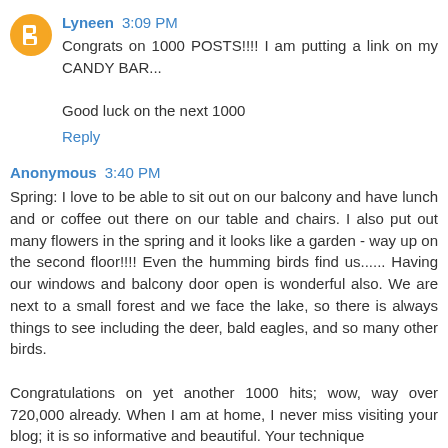Lyneen 3:09 PM
Congrats on 1000 POSTS!!!! I am putting a link on my CANDY BAR...

Good luck on the next 1000

Reply
Anonymous 3:40 PM
Spring: I love to be able to sit out on our balcony and have lunch and or coffee out there on our table and chairs. I also put out many flowers in the spring and it looks like a garden - way up on the second floor!!!! Even the humming birds find us...... Having our windows and balcony door open is wonderful also. We are next to a small forest and we face the lake, so there is always things to see including the deer, bald eagles, and so many other birds.

Congratulations on yet another 1000 hits; wow, way over 720,000 already. When I am at home, I never miss visiting your blog; it is so informative and beautiful. Your technique